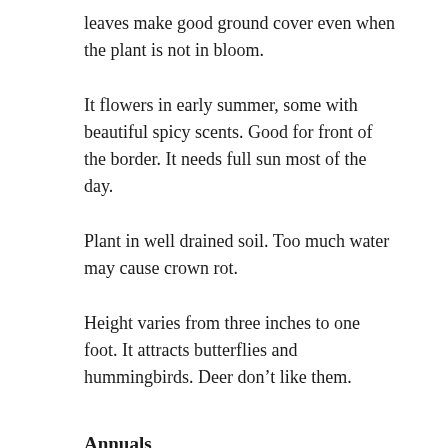leaves make good ground cover even when the plant is not in bloom.
It flowers in early summer, some with beautiful spicy scents. Good for front of the border. It needs full sun most of the day.
Plant in well drained soil. Too much water may cause crown rot.
Height varies from three inches to one foot. It attracts butterflies and hummingbirds. Deer don’t like them.
Annuals
Compared to the perennial, the annual dianthus likes cooler temps. Partial shade or better, eastern